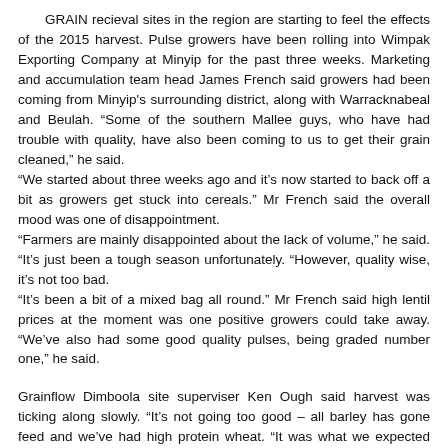GRAIN recieval sites in the region are starting to feel the effects of the 2015 harvest. Pulse growers have been rolling into Wimpak Exporting Company at Minyip for the past three weeks. Marketing and accumulation team head James French said growers had been coming from Minyip's surrounding district, along with Warracknabeal and Beulah. "Some of the southern Mallee guys, who have had trouble with quality, have also been coming to us to get their grain cleaned," he said.
"We started about three weeks ago and it's now started to back off a bit as growers get stuck into cereals." Mr French said the overall mood was one of disappointment.
"Farmers are mainly disappointed about the lack of volume," he said. "It's just been a tough season unfortunately. "However, quality wise, it's not too bad.
"It's been a bit of a mixed bag all round." Mr French said high lentil prices at the moment was one positive growers could take away. "We've also had some good quality pulses, being graded number one," he said.
Grainflow Dimboola site superviser Ken Ough said harvest was ticking along slowly. "It's not going too good – all barley has gone feed and we've had high protein wheat. "It was what we expected with the dry finish."
Mr Ough said while prices overall weren't fantastic, some growers were getting more than they initially thought. He said the site opened on November 9 – two weeks earlier than last year. "We will probably finish about three weeks earlier too," he said.
GrainCorp's latest harvest update shows deliveries of wheat and barley have started in northern areas of the state. "Canola is being